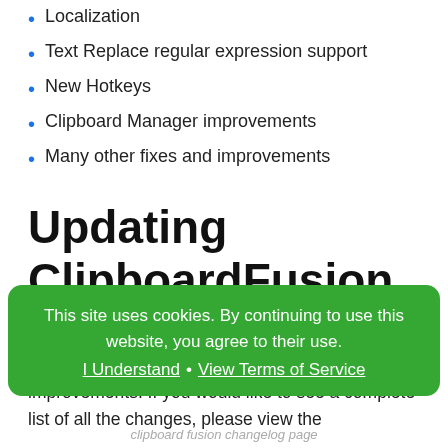Localization
Text Replace regular expression support
New Hotkeys
Clipboard Manager improvements
Many other fixes and improvements
Updating ClipboardFusion
We encourage everyone to update to the new version today to take advantage of these improvements. If you would like to see a complete list of all the changes, please view the
This site uses cookies. By continuing to use this website, you agree to their use. I Understand • View Terms of Service